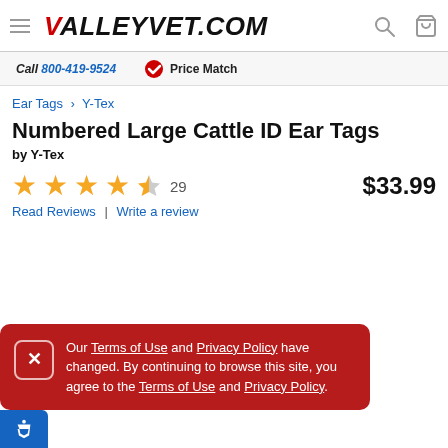ValleyVet.com — Call 800-419-9524 | Price Match
Ear Tags › Y-Tex
Numbered Large Cattle ID Ear Tags
by Y-Tex
★★★★½ 29    $33.99
Read Reviews | Write a review
Our Terms of Use and Privacy Policy have changed. By continuing to browse this site, you agree to the Terms of Use and Privacy Policy.